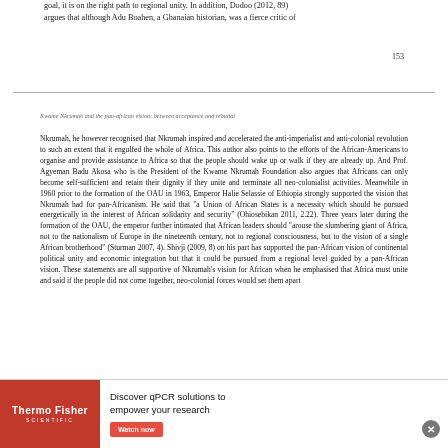goal, it is on the right path to regional unity. In addition, Dodoo (2012, 89) argues that although Adu Boahen, a Ghanaian historian, was a fierce critic of
153
Kwame Nkrumah and the pan-african vision: between acceptance and rebuttal
Nkrumah, he however recognised that Nkrumah inspired and accelerated the anti-imperialist and anti-colonial revolution to such an extent that it engulfed the whole of Africa. This author also points to the efforts of the African-Americans to organise and provide assistance to Africa so that the people should wake up or walk if they are already up. And Prof. Agyeman Badu Akosa who is the President of the Kwame Nkrumah Foundation also argues that Africans can only become self-sufficient and retain their dignity if they unite and terminate all neo-colonialist activities. Meanwhile in 1960 prior to the formation of the OAU in 1963, Emperor Halie Selassie of Ethiopia strongly supported the vision that Nkrumah had for pan-Africanism. He said that "a Union of African States is a necessity which should be pursued energetically in the interest of African solidarity and security" (Ohiosebikan 2011, 2.22). Three years later during the formation of the OAU, the emperor further intimated that African leaders should "arouse the slumbering giant of Africa, not to the nationalism of Europe in the nineteenth century, not to regional consciousness, but to the vision of a single African brotherhood" (Sturman 2007, 4). Shivji (2009, 8) on his part has supported the pan-African vision of continental political unity and economic integration but that it could be pursued from a regional level guided by a pan-African vision. These statements are all supportive of Nkrumah's vision for African when he emphasised that Africa must unite and said if the people did not come together, neo-colonial forces would set them apart
[Figure (infographic): Advertisement banner for Thermo Fisher Scientific: 'Discover qPCR solutions to empower your research' with Watch now button]